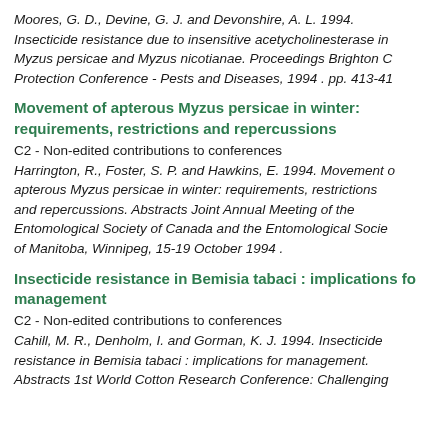Moores, G. D., Devine, G. J. and Devonshire, A. L. 1994. Insecticide resistance due to insensitive acetycholinesterase in Myzus persicae and Myzus nicotianae. Proceedings Brighton Crop Protection Conference - Pests and Diseases, 1994 . pp. 413-41...
Movement of apterous Myzus persicae in winter: requirements, restrictions and repercussions
C2 - Non-edited contributions to conferences
Harrington, R., Foster, S. P. and Hawkins, E. 1994. Movement of apterous Myzus persicae in winter: requirements, restrictions and repercussions. Abstracts Joint Annual Meeting of the Entomological Society of Canada and the Entomological Society of Manitoba, Winnipeg, 15-19 October 1994 .
Insecticide resistance in Bemisia tabaci : implications for management
C2 - Non-edited contributions to conferences
Cahill, M. R., Denholm, I. and Gorman, K. J. 1994. Insecticide resistance in Bemisia tabaci : implications for management. Abstracts 1st World Cotton Research Conference: Challenging...